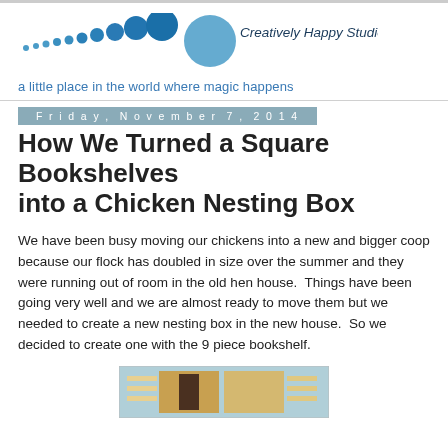[Figure (logo): Creatively Happy Studio logo with blue dots increasing in size leading to a large circle with the studio name]
a little place in the world where magic happens
Friday, November 7, 2014
How We Turned a Square Bookshelves into a Chicken Nesting Box
We have been busy moving our chickens into a new and bigger coop because our flock has doubled in size over the summer and they were running out of room in the old hen house.  Things have been going very well and we are almost ready to move them but we needed to create a new nesting box in the new house.  So we decided to create one with the 9 piece bookshelf.
[Figure (photo): Photo of a wooden bookshelf converted into a chicken nesting box]